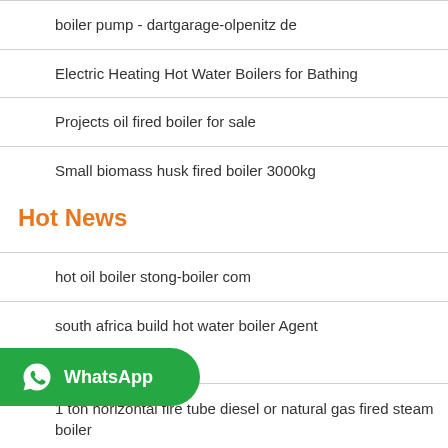boiler pump - dartgarage-olpenitz de
Electric Heating Hot Water Boilers for Bathing
Projects oil fired boiler for sale
Small biomass husk fired boiler 3000kg
Hot News
hot oil boiler stong-boiler com
south africa build hot water boiler Agent
1 ton horizontal fire tube diesel or natural gas fired steam boiler